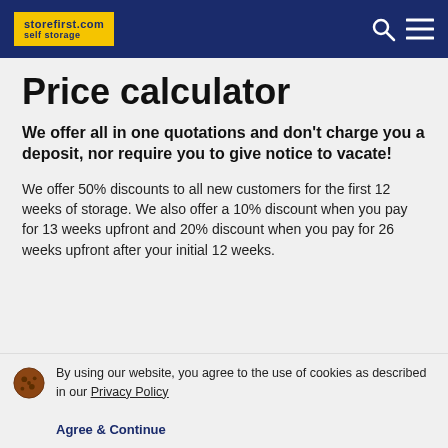storefirst.com self storage
Price calculator
We offer all in one quotations and don't charge you a deposit, nor require you to give notice to vacate!
We offer 50% discounts to all new customers for the first 12 weeks of storage. We also offer a 10% discount when you pay for 13 weeks upfront and 20% discount when you pay for 26 weeks upfront after your initial 12 weeks.
By using our website, you agree to the use of cookies as described in our Privacy Policy
Agree & Continue